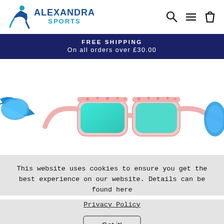Alexandra Sports — search, menu, cart navigation
FREE SHIPPING
On all orders over £30.00
[Figure (photo): Sunglasses product photo: pink flamingo-patterned sunglasses with turquoise/teal mirrored lenses in center, blue sunglasses partially visible on left, another pair partially visible on right, white background.]
This website uses cookies to ensure you get the best experience on our website. Details can be found here
Privacy Policy
Got it!